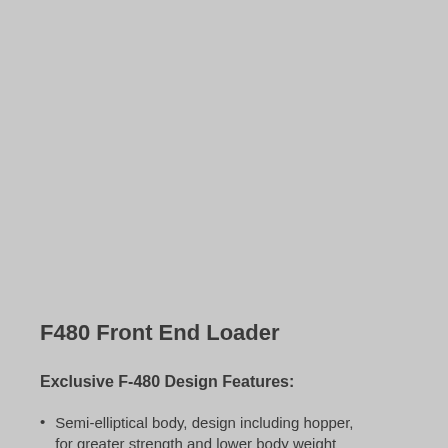[Figure (photo): Photograph of the F480 Front End Loader equipment, displayed in the upper portion of the page against a gray background.]
F480 Front End Loader
Exclusive F-480 Design Features:
Semi-elliptical body, design including hopper, for greater strength and lower body weight